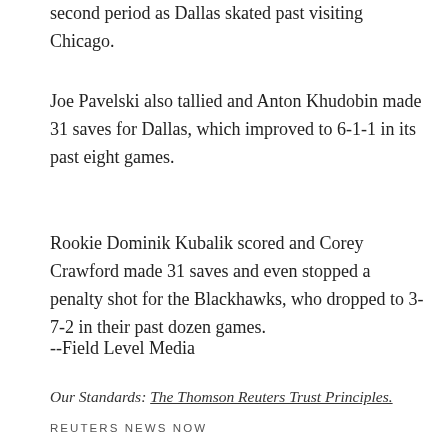second period as Dallas skated past visiting Chicago.
Joe Pavelski also tallied and Anton Khudobin made 31 saves for Dallas, which improved to 6-1-1 in its past eight games.
Rookie Dominik Kubalik scored and Corey Crawford made 31 saves and even stopped a penalty shot for the Blackhawks, who dropped to 3-7-2 in their past dozen games.
--Field Level Media
Our Standards: The Thomson Reuters Trust Principles.
REUTERS NEWS NOW